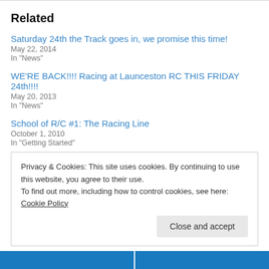Related
Saturday 24th the Track goes in, we promise this time!
May 22, 2014
In "News"
WE'RE BACK!!!! Racing at Launceston RC THIS FRIDAY 24th!!!!
May 20, 2013
In "News"
School of R/C #1: The Racing Line
October 1, 2010
In "Getting Started"
Privacy & Cookies: This site uses cookies. By continuing to use this website, you agree to their use.
To find out more, including how to control cookies, see here: Cookie Policy